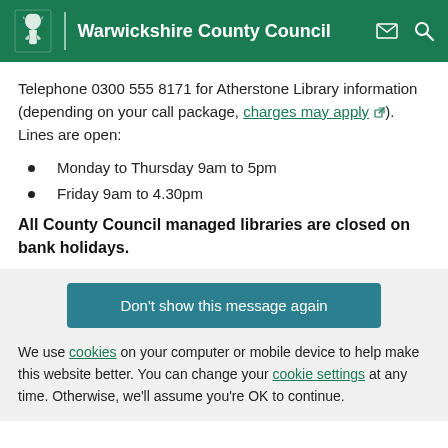Warwickshire County Council
Telephone 0300 555 8171 for Atherstone Library information (depending on your call package, charges may apply). Lines are open:
Monday to Thursday 9am to 5pm
Friday 9am to 4.30pm
All County Council managed libraries are closed on bank holidays.
Don't show this message again
We use cookies on your computer or mobile device to help make this website better. You can change your cookie settings at any time. Otherwise, we'll assume you're OK to continue.